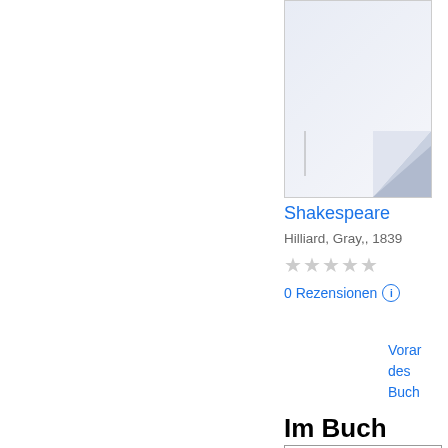[Figure (illustration): Book cover thumbnail with light blue/white background and a page curl effect in the bottom right corner]
Shakespeare
Hilliard, Gray,, 1839
★★★★★ (empty stars rating)
0 Rezensionen ⓘ
Voranschau des Buchs
Im Buch
Suche (search input and button)
Was andere